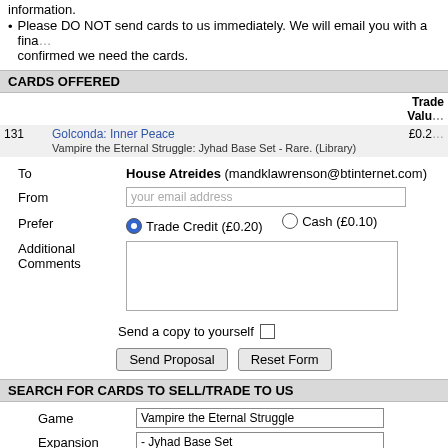information.
Please DO NOT send cards to us immediately. We will email you with a fina... confirmed we need the cards.
CARDS OFFERED
|  |  | Trade Value |
| --- | --- | --- |
| 131 | Golconda: Inner Peace | £0.2 |
|  | Vampire the Eternal Struggle: Jyhad Base Set - Rare. (Library) |  |
To  House Atreides (mandklawrenson@btinternet.com)
From  your email address
Prefer  Trade Credit (£0.20)  Cash (£0.10)
Additional Comments
Send a copy to yourself
Send Proposal   Reset Form
SEARCH FOR CARDS TO SELL/TRADE TO US
Game  Vampire the Eternal Struggle
Expansion  - Jyhad Base Set
Sort results by